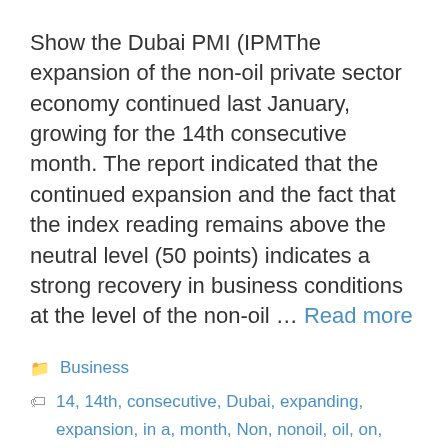Show the Dubai PMI (IPMThe expansion of the non-oil private sector economy continued last January, growing for the 14th consecutive month. The report indicated that the continued expansion and the fact that the index reading remains above the neutral level (50 points) indicates a strong recovery in business conditions at the level of the non-oil … Read more
Business
14, 14th, consecutive, Dubai, expanding, expansion, in a, month, Non, nonoil, oil, on, private, Register, sector, straight, للشهر
Leave a comment